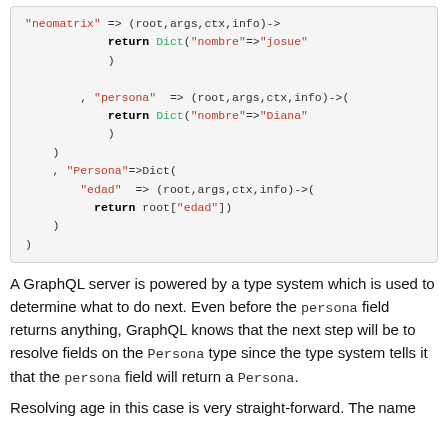[Figure (screenshot): Code block showing Julia/GraphQL resolver definitions with string keys 'neomatrix', 'persona', 'Persona', 'edad' mapped to lambda functions returning Dict values.]
A GraphQL server is powered by a type system which is used to determine what to do next. Even before the persona field returns anything, GraphQL knows that the next step will be to resolve fields on the Persona type since the type system tells it that the persona field will return a Persona.
Resolving age in this case is very straight-forward. The name